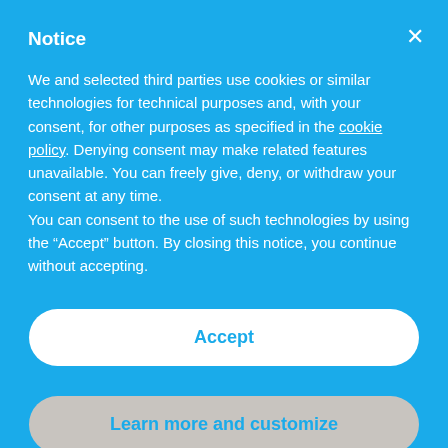Notice
We and selected third parties use cookies or similar technologies for technical purposes and, with your consent, for other purposes as specified in the cookie policy. Denying consent may make related features unavailable. You can freely give, deny, or withdraw your consent at any time.
You can consent to the use of such technologies by using the “Accept” button. By closing this notice, you continue without accepting.
Accept
Learn more and customize
By Point Of Care Ultrasonography